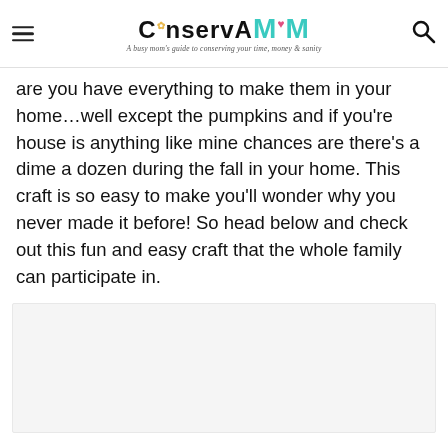ConservaMom — A busy mom's guide to conserving your time, money & sanity
are you have everything to make them in your home…well except the pumpkins and if you're house is anything like mine chances are there's a dime a dozen during the fall in your home. This craft is so easy to make you'll wonder why you never made it before! So head below and check out this fun and easy craft that the whole family can participate in.
[Figure (photo): Image placeholder area (light gray rectangle)]